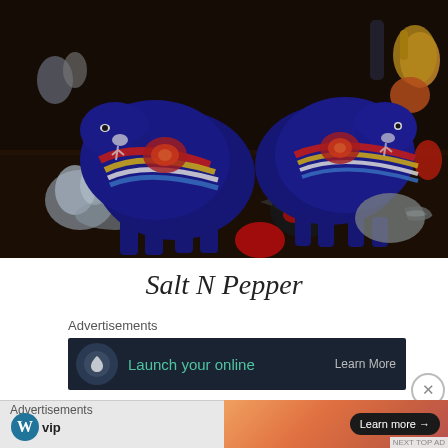[Figure (photo): Collection of salt and pepper shakers on a table. Prominently featuring two large blue Dala horse figurines with colorful decorative patterns (red, yellow, white stripes). Various other shakers visible including silver/crystal pieces, a black dog, red figurines, and assorted collectibles in the background.]
Salt N Pepper
Advertisements
[Figure (screenshot): Dark colored advertisement banner with circular icon on left, teal text reading 'Launch your online' and 'Learn More' button on right.]
Advertisements
[Figure (screenshot): WordPress VIP logo on left (circle W icon with 'vip' text). Orange/coral gradient advertisement banner on right with 'Learn more →' button in dark rounded pill.]